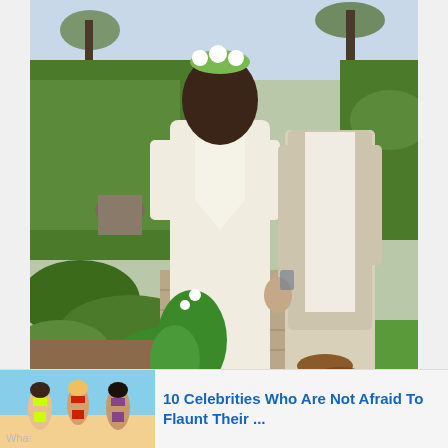[Figure (photo): A bride and groom walking away from camera on a wooden boardwalk path, surrounded by tropical greenery. The bride wears a white bohemian lace cold-shoulder dress with open back and flower crown in her dark wavy hair, holding a tropical leaf bouquet. The groom wears a light beige suit with brown leather loafers.]
[Figure (photo): Small thumbnail advertisement image showing three women in colorful bikinis on a beach.]
10 Celebrities Who Are Not Afraid To Flaunt Their ...
What